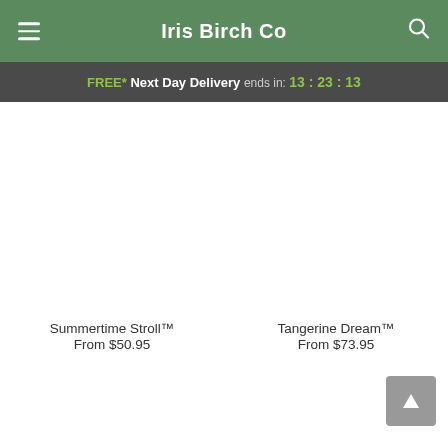Iris Birch Co
FREE* Next Day Delivery ends in: 13:23:13
[Figure (photo): Product image placeholder for Summertime Stroll]
Summertime Stroll™
From $50.95
[Figure (photo): Product image placeholder for Tangerine Dream]
Tangerine Dream™
From $73.95